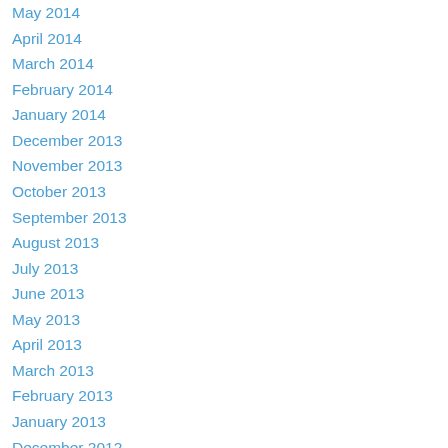May 2014
April 2014
March 2014
February 2014
January 2014
December 2013
November 2013
October 2013
September 2013
August 2013
July 2013
June 2013
May 2013
April 2013
March 2013
February 2013
January 2013
December 2012
Categories
All